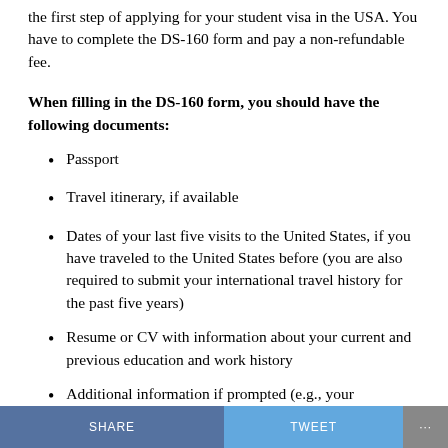the first step of applying for your student visa in the USA. You have to complete the DS-160 form and pay a non-refundable fee.
When filling in the DS-160 form, you should have the following documents:
Passport
Travel itinerary, if available
Dates of your last five visits to the United States, if you have traveled to the United States before (you are also required to submit your international travel history for the past five years)
Resume or CV with information about your current and previous education and work history
Additional information if prompted (e.g., your
SHARE   TWEET